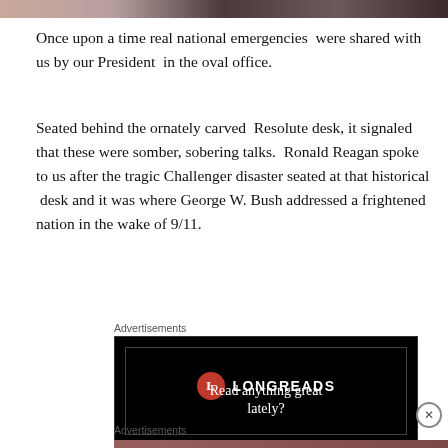[Figure (photo): Partial photo strip at top of page showing people, cropped]
Once upon a time real national emergencies  were shared with us by our President  in the oval office.
Seated behind the ornately carved  Resolute desk, it signaled that these were somber, sobering talks.  Ronald Reagan spoke to us after the tragic Challenger disaster seated at that historical  desk and it was where George W. Bush addressed a frightened nation in the wake of 9/11.
Advertisements
[Figure (screenshot): Longreads advertisement on black background with logo circle containing L, brand name LONGREADS, and tagline Read anything great lately?]
Advertisements